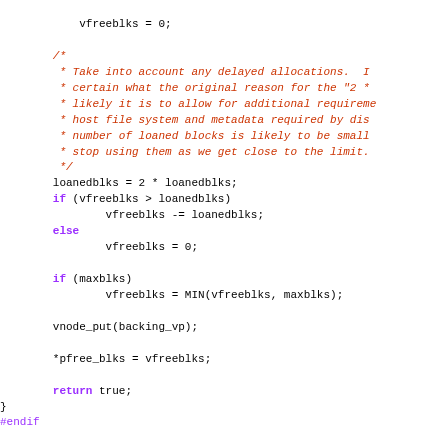Source code snippet showing C code with vfreeblks, loanedblks, hfs_freeblks function definition